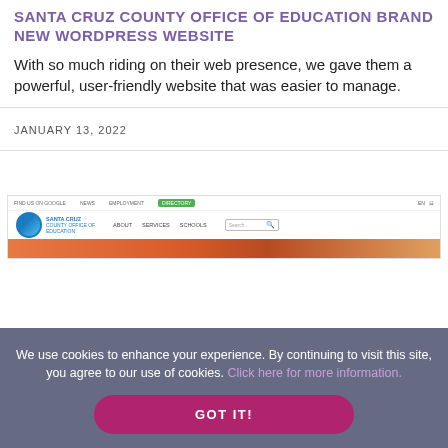SANTA CRUZ COUNTY OFFICE OF EDUCATION BRAND NEW WORDPRESS WEBSITE
With so much riding on their web presence, we gave them a powerful, user-friendly website that was easier to manage.
JANUARY 13, 2022
[Figure (screenshot): Screenshot of Santa Cruz County Office of Education website showing the logo, navigation bar with About, Services, Schools links, a search box, and a hero image.]
We use cookies to enhance your experience. By continuing to visit this site, you agree to our use of cookies. Click here for more information.
GOT IT!